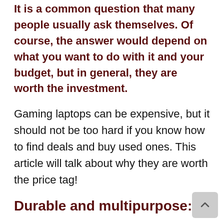It is a common question that many people usually ask themselves. Of course, the answer would depend on what you want to do with it and your budget, but in general, they are worth the investment.
Gaming laptops can be expensive, but it should not be too hard if you know how to find deals and buy used ones. This article will talk about why they are worth the price tag!
Durable and multipurpose:
The first reason is that laptops are a good investment. Most people only use their laptops for work, school, and other general tasks, so...